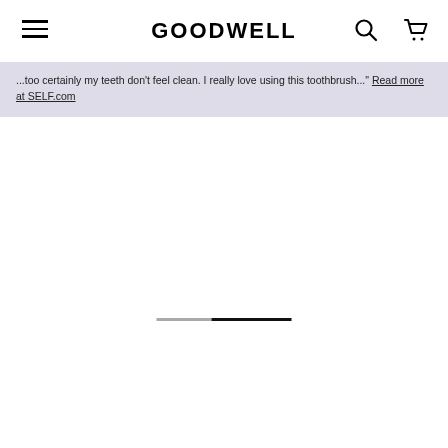GOODWELL
...too certainly my teeth don't feel clean. I really love using this toothbrush..." Read more at SELF.com
[Figure (other): Progress/carousel indicator bar with gray and dark segments]